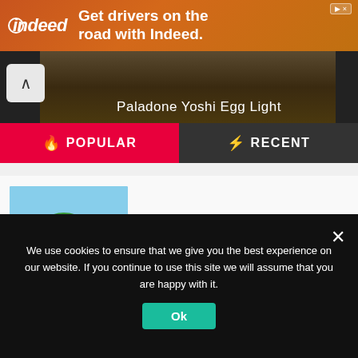[Figure (infographic): Indeed advertisement banner: orange/brown gradient background with Indeed logo and text 'Get drivers on the road with Indeed.']
[Figure (screenshot): Product navigation bar showing back arrow button and label 'Paladone Yoshi Egg Light' on dark background]
[Figure (infographic): Tab navigation with POPULAR (red, flame icon) and RECENT (dark, lightning icon) tabs]
[Figure (photo): Thumbnail photo of a red convertible car on a tropical road lined with palm trees near the beach]
What Cars Are Collectibles?
We use cookies to ensure that we give you the best experience on our website. If you continue to use this site we will assume that you are happy with it.